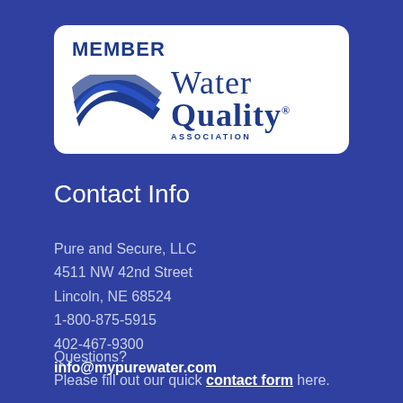[Figure (logo): Water Quality Association member logo badge. White rounded rectangle containing 'MEMBER' in bold dark blue text, a WQA wave graphic in dark blue, and 'Water Quality Association' wordmark.]
Contact Info
Pure and Secure, LLC
4511 NW 42nd Street
Lincoln, NE 68524
1-800-875-5915
402-467-9300
info@mypurewater.com
Questions?
Please fill out our quick contact form here.